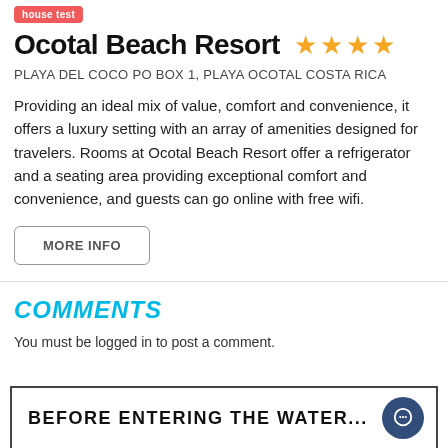House Test
Ocotal Beach Resort ★★★★
PLAYA DEL COCO PO BOX 1, PLAYA OCOTAL COSTA RICA
Providing an ideal mix of value, comfort and convenience, it offers a luxury setting with an array of amenities designed for travelers. Rooms at Ocotal Beach Resort offer a refrigerator and a seating area providing exceptional comfort and convenience, and guests can go online with free wifi.
MORE INFO
COMMENTS
You must be logged in to post a comment.
BEFORE ENTERING THE WATER...